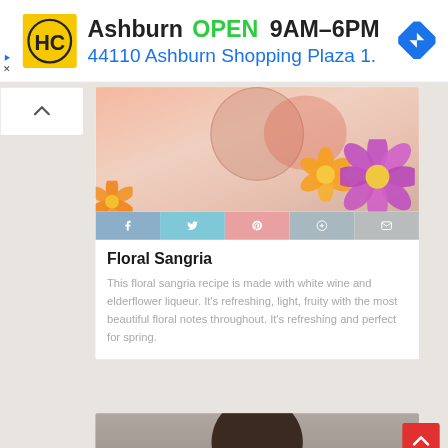[Figure (screenshot): Advertisement banner for Ashburn HC store showing logo, OPEN status, hours 9AM-6PM, and address 44110 Ashburn Shopping Plaza 1., with navigation arrow icon]
Ashburn  OPEN  9AM–6PM
44110 Ashburn Shopping Plaza 1.
[Figure (photo): Top portion of a drink in a glass jar with flowers (orange and purple/pink) on a marble surface - Floral Sangria recipe image]
Floral Sangria
This floral sangria recipe is made with white wine and elderflower liqueur. It's refreshing, light, fruity with the most beautiful floral notes throughout. It's refreshing and perfect for spring.
[Figure (photo): Partial view of a person's face/head with dark hair at the bottom of the page]